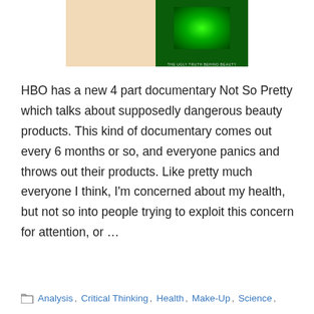[Figure (photo): Composite image showing a woman on the left side and a green glowing bottle/product image on the right side, likely from the HBO documentary Not So Pretty.]
HBO has a new 4 part documentary Not So Pretty which talks about supposedly dangerous beauty products. This kind of documentary comes out every 6 months or so, and everyone panics and throws out their products. Like pretty much everyone I think, I'm concerned about my health, but not so into people trying to exploit this concern for attention, or …
Read more
Analysis , Critical Thinking , Health , Make-Up , Science ,